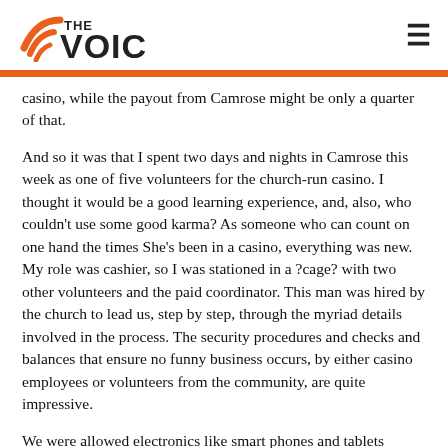THE VOICE
casino, while the payout from Camrose might be only a quarter of that.
And so it was that I spent two days and nights in Camrose this week as one of five volunteers for the church-run casino. I thought it would be a good learning experience, and, also, who couldn't use some good karma? As someone who can count on one hand the times She's been in a casino, everything was new. My role was cashier, so I was stationed in a ?cage? with two other volunteers and the paid coordinator. This man was hired by the church to lead us, step by step, through the myriad details involved in the process. The security procedures and checks and balances that ensure no funny business occurs, by either casino employees or volunteers from the community, are quite impressive.
We were allowed electronics like smart phones and tablets